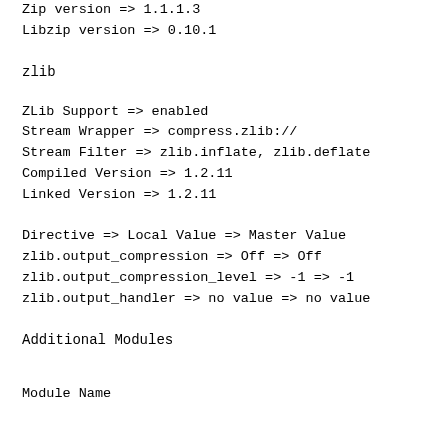Zip version => 1.1.1.3
Libzip version => 0.10.1
zlib
ZLib Support => enabled
Stream Wrapper => compress.zlib://
Stream Filter => zlib.inflate, zlib.deflate
Compiled Version => 1.2.11
Linked Version => 1.2.11
Directive => Local Value => Master Value
zlib.output_compression => Off => Off
zlib.output_compression_level => -1 => -1
zlib.output_handler => no value => no value
Additional Modules
Module Name